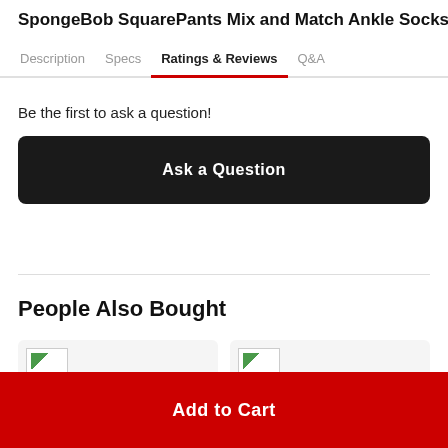SpongeBob SquarePants Mix and Match Ankle Socks
Description | Specs | Ratings & Reviews | Q&A
Be the first to ask a question!
Ask a Question
People Also Bought
[Figure (photo): Product card image placeholder 1]
[Figure (photo): Product card image placeholder 2]
Add to Cart